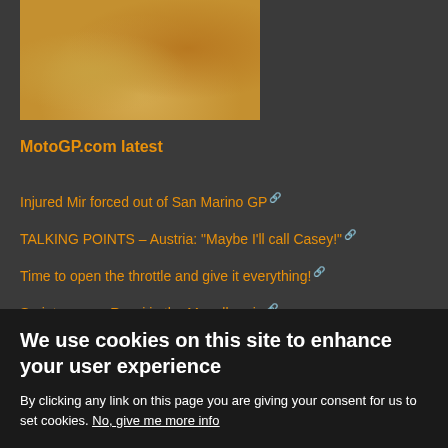[Figure (photo): Partial view of a motorcycle racing on sand/dirt surface, top portion of image visible]
MotoGP.com latest
Injured Mir forced out of San Marino GP
TALKING POINTS – Austria: "Maybe I'll call Casey!"
Time to open the throttle and give it everything!
Sprint races – Rossi in the Mugello rain
More
Popular on MotoMatters.com
We use cookies on this site to enhance your user experience
By clicking any link on this page you are giving your consent for us to set cookies. No, give me more info